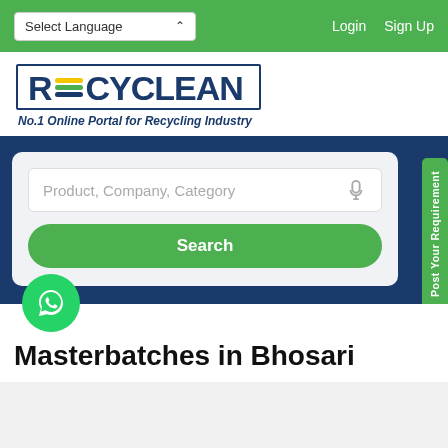Select Language | Login | Sign Up
[Figure (logo): Recyclean logo with recycling icon and tagline 'No.1 Online Portal for Recycling Industry']
[Figure (screenshot): Search bar with placeholder 'Product, Company, Category' and green Search button]
Masterbatches in Bhosari